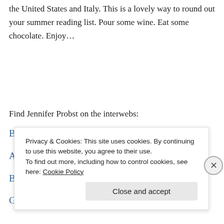the United States and Italy. This is a lovely way to round out your summer reading list. Pour some wine. Eat some chocolate. Enjoy…
Find Jennifer Probst on the interwebs:
Blog
Amazon
Barnes & Noble
Goodreads
Privacy & Cookies: This site uses cookies. By continuing to use this website, you agree to their use.
To find out more, including how to control cookies, see here: Cookie Policy